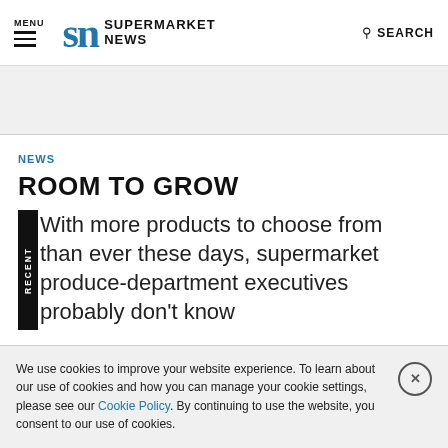MENU | SN SUPERMARKET NEWS | SEARCH
NEWS
ROOM TO GROW
With more products to choose from than ever these days, supermarket produce-department executives probably don't know
We use cookies to improve your website experience. To learn about our use of cookies and how you can manage your cookie settings, please see our Cookie Policy. By continuing to use the website, you consent to our use of cookies.